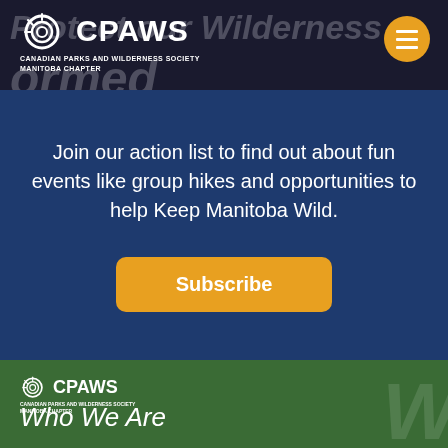[Figure (logo): CPAWS Canadian Parks and Wilderness Society Manitoba Chapter logo in black header bar with hamburger menu button]
Join our action list to find out about fun events like group hikes and opportunities to help Keep Manitoba Wild.
Subscribe
[Figure (logo): Small CPAWS Canadian Parks and Wilderness Society Manitoba Chapter logo on green background]
Who We Are